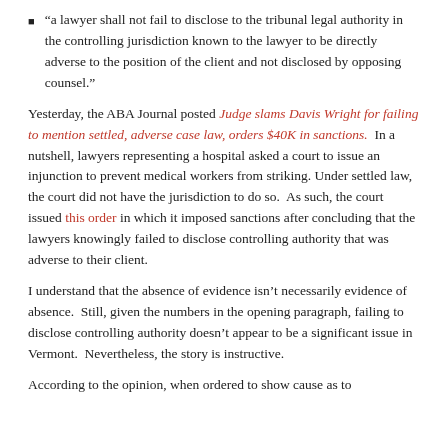“a lawyer shall not fail to disclose to the tribunal legal authority in the controlling jurisdiction known to the lawyer to be directly adverse to the position of the client and not disclosed by opposing counsel.”
Yesterday, the ABA Journal posted Judge slams Davis Wright for failing to mention settled, adverse case law, orders $40K in sanctions. In a nutshell, lawyers representing a hospital asked a court to issue an injunction to prevent medical workers from striking. Under settled law, the court did not have the jurisdiction to do so. As such, the court issued this order in which it imposed sanctions after concluding that the lawyers knowingly failed to disclose controlling authority that was adverse to their client.
I understand that the absence of evidence isn’t necessarily evidence of absence. Still, given the numbers in the opening paragraph, failing to disclose controlling authority doesn’t appear to be a significant issue in Vermont. Nevertheless, the story is instructive.
According to the opinion, when ordered to show cause as to